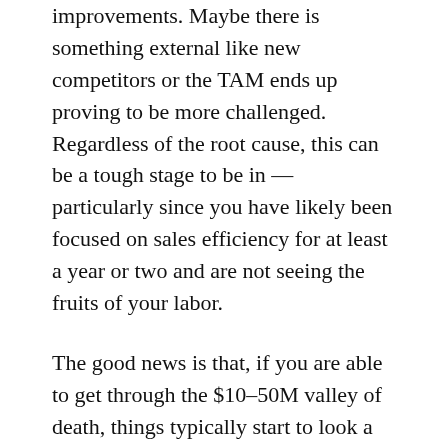improvements. Maybe there is something external like new competitors or the TAM ends up proving to be more challenged. Regardless of the root cause, this can be a tough stage to be in — particularly since you have likely been focused on sales efficiency for at least a year or two and are not seeing the fruits of your labor.
The good news is that, if you are able to get through the $10–50M valley of death, things typically start to look a lot better on the other side of $50M in ARR. Companies that breakthrough this threshold are usually benefiting from a hyper-optimized sales & marketing engine and are able to grow quickly and efficiently. The magic number for companies that get here, on average, is greater